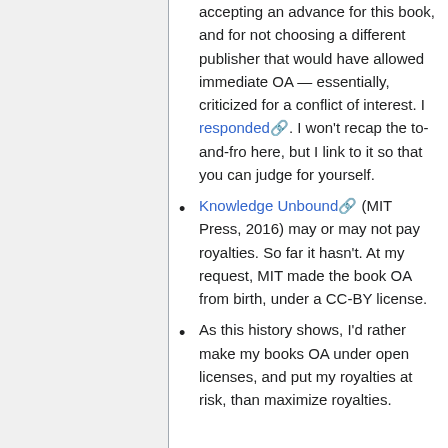accepting an advance for this book, and for not choosing a different publisher that would have allowed immediate OA — essentially, criticized for a conflict of interest. I responded. I won't recap the to-and-fro here, but I link to it so that you can judge for yourself.
Knowledge Unbound (MIT Press, 2016) may or may not pay royalties. So far it hasn't. At my request, MIT made the book OA from birth, under a CC-BY license.
As this history shows, I'd rather make my books OA under open licenses, and put my royalties at risk, than maximize royalties.